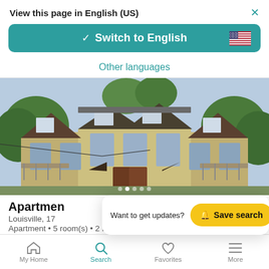View this page in English (US)
Switch to English
Other languages
[Figure (photo): Aerial/elevated view of a large multi-story apartment building with brown/tan exterior, gabled roofs with metal panels, balconies, and surrounding trees]
Apartment • 5 room(s) • 2 Bed. • 2 Bath. • 118.27 m²
Want to get updates?  Save search
My Home  Search  Favorites  More